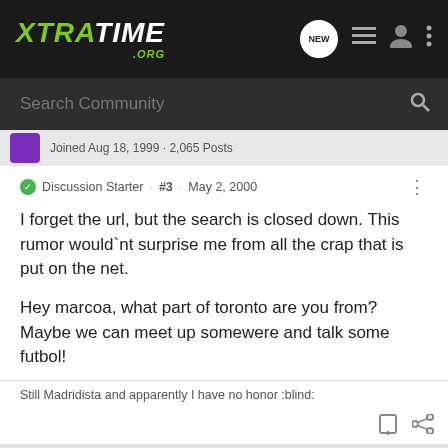XTRATIME.ORG
Search Community
Joined Aug 18, 1999 · 2,065 Posts
Discussion Starter · #3 · May 2, 2000
I forget the url, but the search is closed down. This rumor would`nt surprise me from all the crap that is put on the net.

Hey marcoa, what part of toronto are you from? Maybe we can meet up somewere and talk some futbol!
Still Madridista and apparently I have no honor :blind: